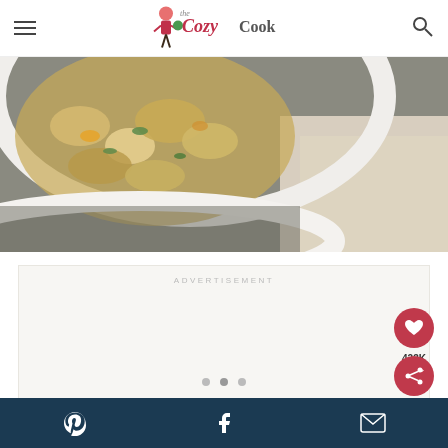The Cozy Cook - navigation header with menu icon, logo, and search icon
[Figure (photo): Close-up food photo of pasta or mac and cheese in a white bowl with green herbs, on a grey surface with a beige linen cloth]
ADVERTISEMENT
[Figure (other): Advertisement placeholder box]
Social sharing bar with Pinterest, Facebook, Email icons and heart/share FAB buttons showing 423K